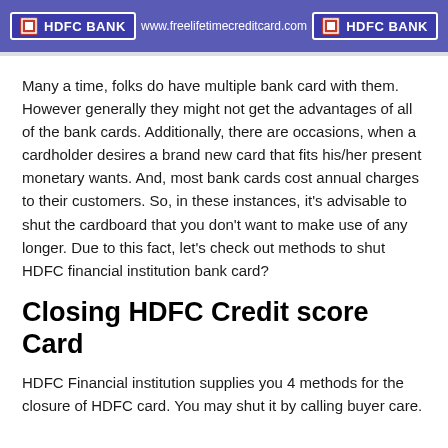HDFC BANK  www.freelifetimecreditcard.com  HDFC BANK
Many a time, folks do have multiple bank card with them. However generally they might not get the advantages of all of the bank cards. Additionally, there are occasions, when a cardholder desires a brand new card that fits his/her present monetary wants. And, most bank cards cost annual charges to their customers. So, in these instances, it's advisable to shut the cardboard that you don't want to make use of any longer. Due to this fact, let's check out methods to shut HDFC financial institution bank card?
Closing HDFC Credit score Card
HDFC Financial institution supplies you 4 methods for the closure of HDFC card. You may shut it by calling buyer care.